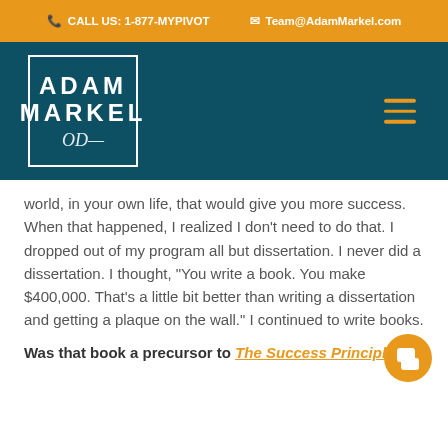CALL US: 1-877-MYPIVOT   Team@AdamMarkel.com
[Figure (logo): Adam Markel logo with white text on dark teal background, signature below, orange hamburger menu icon on right]
world, in your own life, that would give you more success. When that happened, I realized I don't need to do that. I dropped out of my program all but dissertation. I never did a dissertation. I thought, "You write a book. You make $400,000. That's a little bit better than writing a dissertation and getting a plaque on the wall." I continued to write books.
Was that book a precursor to The Success Principles?